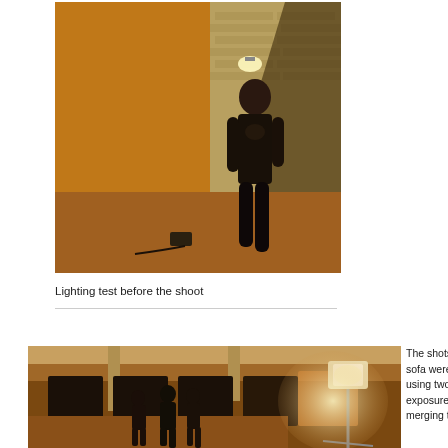[Figure (photo): A person in a dark shirt leaning against a brick wall in a warm orange-lit indoor/outdoor space. A shadow is cast on the wall behind them. The floor appears to be concrete.]
Lighting test before the shoot
[Figure (photo): An indoor space with warm orange lighting showing several people standing near windows and a bright studio light on a stand to the right. The scene appears to be a behind-the-scenes photography/filming setup.]
The shots on the sofa were done using two separate exposures and merging them in